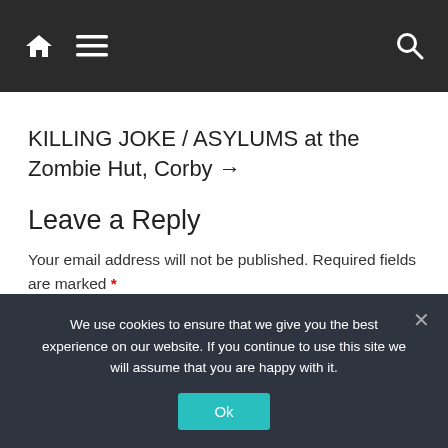[Navigation bar with home, menu, and search icons]
KILLING JOKE / ASYLUMS at the Zombie Hut, Corby →
Leave a Reply
Your email address will not be published. Required fields are marked *
We use cookies to ensure that we give you the best experience on our website. If you continue to use this site we will assume that you are happy with it.